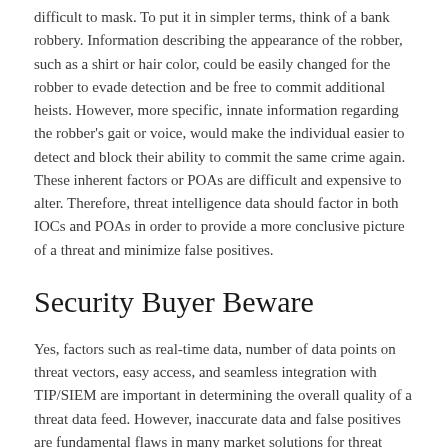difficult to mask. To put it in simpler terms, think of a bank robbery. Information describing the appearance of the robber, such as a shirt or hair color, could be easily changed for the robber to evade detection and be free to commit additional heists. However, more specific, innate information regarding the robber's gait or voice, would make the individual easier to detect and block their ability to commit the same crime again. These inherent factors or POAs are difficult and expensive to alter. Therefore, threat intelligence data should factor in both IOCs and POAs in order to provide a more conclusive picture of a threat and minimize false positives.
Security Buyer Beware
Yes, factors such as real-time data, number of data points on threat vectors, easy access, and seamless integration with TIP/SIEM are important in determining the overall quality of a threat data feed. However, inaccurate data and false positives are fundamental flaws in many market solutions for threat intelligence. By using an original source digital threat intelligence feed vendor, you maximize the level of intel accuracy and minimize the margin for false positives to occur.